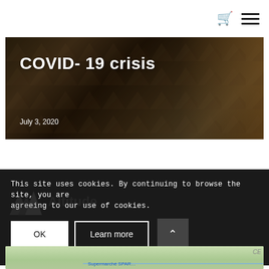COVID- 19 crisis
July 3, 2020
This site uses cookies. By continuing to browse the site, you are agreeing to our use of cookies.
[Figure (logo): Altitude logo watermark with mountain triangles]
[Figure (map): Map preview showing roads and terrain at bottom of page]